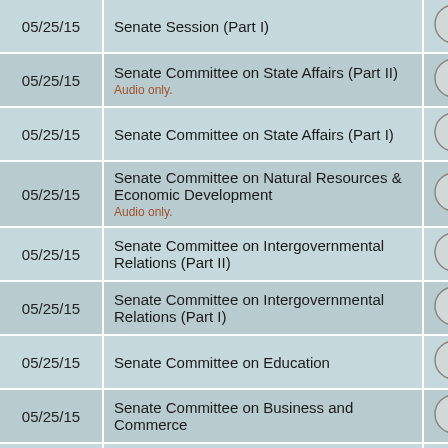| Date | Title | Play |
| --- | --- | --- |
| 05/25/15 | Senate Session (Part I) |  |
| 05/25/15 | Senate Committee on State Affairs (Part II)
Audio only. |  |
| 05/25/15 | Senate Committee on State Affairs (Part I) |  |
| 05/25/15 | Senate Committee on Natural Resources & Economic Development
Audio only. |  |
| 05/25/15 | Senate Committee on Intergovernmental Relations (Part II) |  |
| 05/25/15 | Senate Committee on Intergovernmental Relations (Part I) |  |
| 05/25/15 | Senate Committee on Education |  |
| 05/25/15 | Senate Committee on Business and Commerce |  |
| 05/25/15 | Senate Committee on Administration (Part II) |  |
| 05/25/15 | Senate Committee on Administration (Part I)
Audio only. |  |